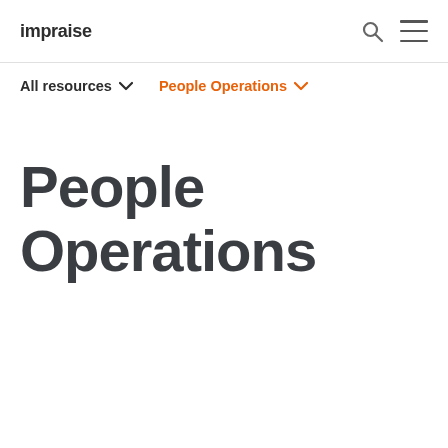impraise
All resources ∨   People Operations ∨
People Operations